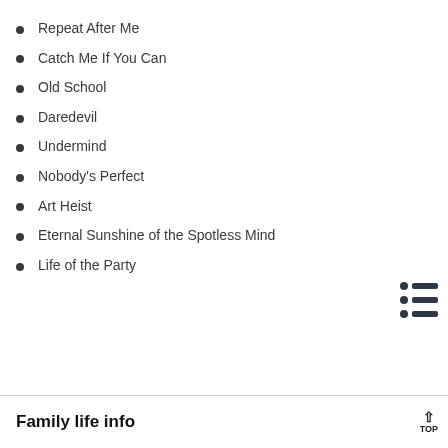Repeat After Me
Catch Me If You Can
Old School
Daredevil
Undermind
Nobody's Perfect
Art Heist
Eternal Sunshine of the Spotless Mind
Life of the Party
Family life info